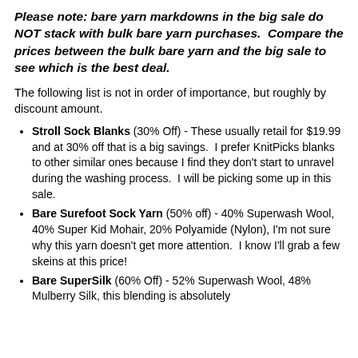Please note: bare yarn markdowns in the big sale do NOT stack with bulk bare yarn purchases. Compare the prices between the bulk bare yarn and the big sale to see which is the best deal.
The following list is not in order of importance, but roughly by discount amount.
Stroll Sock Blanks (30% Off) - These usually retail for $19.99 and at 30% off that is a big savings. I prefer KnitPicks blanks to other similar ones because I find they don't start to unravel during the washing process. I will be picking some up in this sale.
Bare Surefoot Sock Yarn (50% off) - 40% Superwash Wool, 40% Super Kid Mohair, 20% Polyamide (Nylon), I'm not sure why this yarn doesn't get more attention. I know I'll grab a few skeins at this price!
Bare SuperSilk (60% Off) - 52% Superwash Wool, 48% Mulberry Silk, this blending is absolutely...